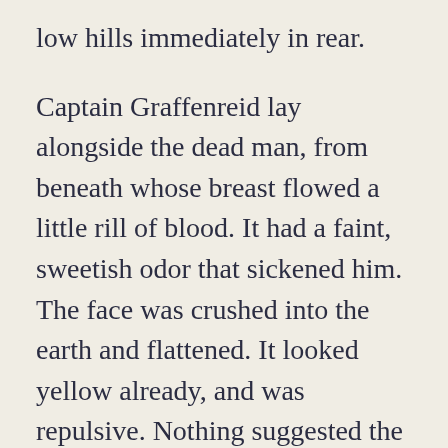low hills immediately in rear.
Captain Graffenreid lay alongside the dead man, from beneath whose breast flowed a little rill of blood. It had a faint, sweetish odor that sickened him. The face was crushed into the earth and flattened. It looked yellow already, and was repulsive. Nothing suggested the glory of a soldier's death nor mitigated the loathsomeness of the incident. He could not turn his back upon the body without facing away from his company.
He fixed his eyes upon the forest, where